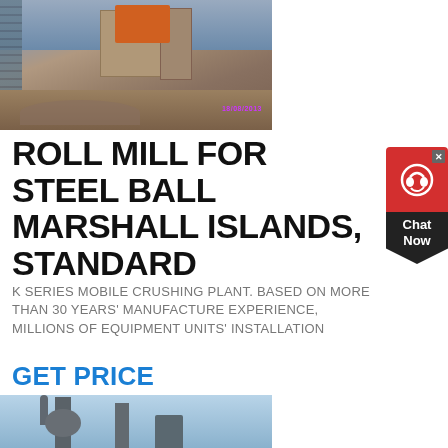[Figure (photo): Construction site photo showing a building under construction with scaffolding, orange machinery/crane at top, and earthworks below. A date stamp 18/08/2013 is visible in purple/pink text at bottom right of image.]
ROLL MILL FOR STEEL BALL MARSHALL ISLANDS, STANDARD
K SERIES MOBILE CRUSHING PLANT. BASED ON MORE THAN 30 YEARS' MANUFACTURE EXPERIENCE, MILLIONS OF EQUIPMENT UNITS' INSTALLATION
GET PRICE
[Figure (photo): Industrial mill equipment photo showing large cylindrical tower structures, piping, hoppers and separators against a blue sky background. Industrial grinding/milling plant.]